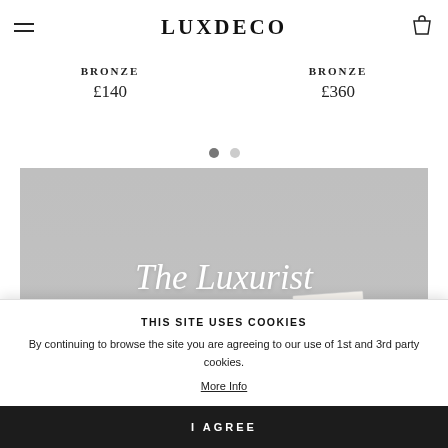LUXDECO
Bronze £140
Bronze £360
[Figure (other): Pagination dots: one dark grey dot and one light grey dot indicating carousel position]
[Figure (photo): Grey banner with italic white text 'The Luxurist' and a partially visible magazine at the bottom]
THIS SITE USES COOKIES
By continuing to browse the site you are agreeing to our use of 1st and 3rd party cookies.
More Info
I AGREE